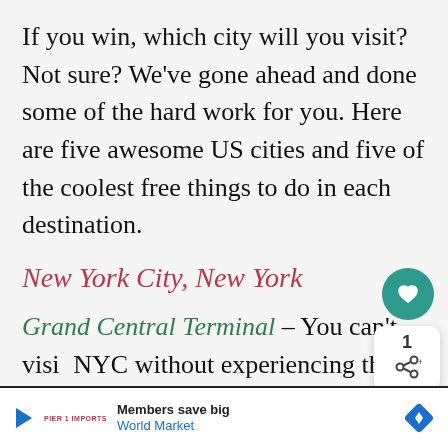If you win, which city will you visit? Not sure? We've gone ahead and done some of the hard work for you. Here are five awesome US cities and five of the coolest free things to do in each destination.
New York City, New York
Grand Central Terminal – You can't visit NYC without experiencing this world-famous landmark. Built in 1871, beautiful architecture is captivating.
[Figure (other): Heart/like button icon in teal circle]
[Figure (other): Share count bubble showing '1' and share icon]
[Figure (other): What's Next overlay with thumbnail, label and text 'What Do You Do To Stay...']
[Figure (other): Advertisement bar: World Market Members save big, with navigation icon and WM logo]